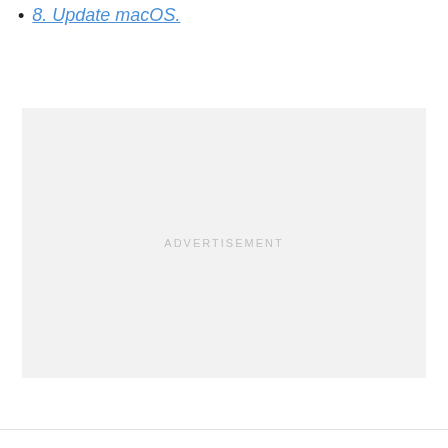8. Update macOS.
[Figure (other): Advertisement placeholder box with light gray background and centered 'ADVERTISEMENT' label text]